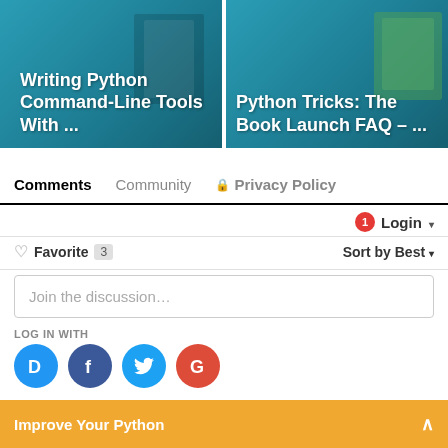[Figure (screenshot): Two article thumbnail cards side by side: left card shows 'Writing Python Command-Line Tools With ...' with teal background, right card shows 'Python Tricks: The Book Launch FAQ – ...' with teal background and book image]
Comments   Community   🔒 Privacy Policy
1  Login ▾
♡ Favorite  3   Sort by Best ▾
Join the discussion…
LOG IN WITH
[Figure (infographic): Four social login icons: Disqus (blue D), Facebook (dark blue f), Twitter (light blue bird), Google (red G)]
Improve Your Python